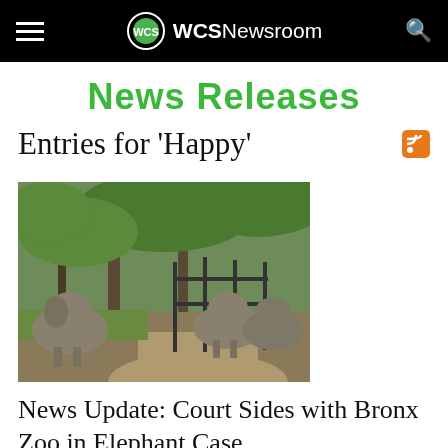WCSNewsroom
News Releases
Entries for 'Happy'
[Figure (photo): Two elephants in a wooded zoo enclosure with metal fencing, surrounded by trees and a dirt path]
News Update: Court Sides with Bronx Zoo in Elephant Case